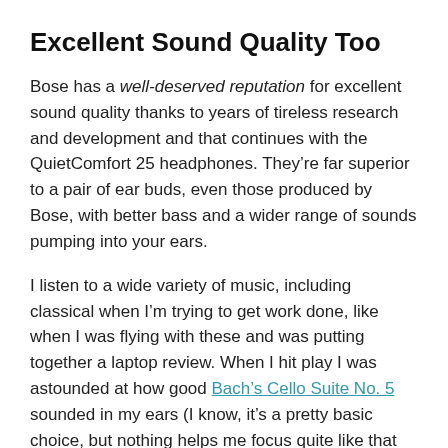Excellent Sound Quality Too
Bose has a well-deserved reputation for excellent sound quality thanks to years of tireless research and development and that continues with the QuietComfort 25 headphones. They’re far superior to a pair of ear buds, even those produced by Bose, with better bass and a wider range of sounds pumping into your ears.
I listen to a wide variety of music, including classical when I’m trying to get work done, like when I was flying with these and was putting together a laptop review. When I hit play I was astounded at how good Bach’s Cello Suite No. 5 sounded in my ears (I know, it’s a pretty basic choice, but nothing helps me focus quite like that piece of music).